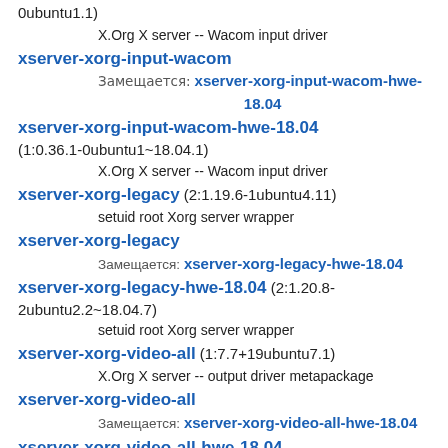0ubuntu1.1)
X.Org X server -- Wacom input driver
xserver-xorg-input-wacom
Замещается: xserver-xorg-input-wacom-hwe-18.04
xserver-xorg-input-wacom-hwe-18.04 (1:0.36.1-0ubuntu1~18.04.1)
X.Org X server -- Wacom input driver
xserver-xorg-legacy (2:1.19.6-1ubuntu4.11)
setuid root Xorg server wrapper
xserver-xorg-legacy
Замещается: xserver-xorg-legacy-hwe-18.04
xserver-xorg-legacy-hwe-18.04 (2:1.20.8-2ubuntu2.2~18.04.7)
setuid root Xorg server wrapper
xserver-xorg-video-all (1:7.7+19ubuntu7.1)
X.Org X server -- output driver metapackage
xserver-xorg-video-all
Замещается: xserver-xorg-video-all-hwe-18.04
xserver-xorg-video-all-hwe-18.04 (1:7.7+19ubuntu8~18.04.3)
X.Org X server -- output driver metapackage
xserver-xorg-video-amdgpu-hwe-18.04 (19.1.0-1~18.04.1)
X.Org X server -- AMDGPU display driver
xserver-xorg-video-ati-hwe-18.04 (1:19.1.0-1~18.04.1)